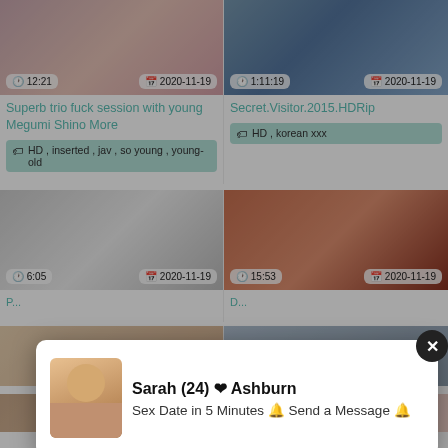[Figure (screenshot): Video thumbnail top-left with time badge 12:21 and date 2020-11-19]
Superb trio fuck session with young Megumi Shino More
HD, inserted, jav, so young, young-old
[Figure (screenshot): Video thumbnail top-right with time badge 1:11:19 and date 2020-11-19]
Secret.Visitor.2015.HDRip
HD, korean xxx
[Figure (screenshot): Video thumbnail mid-left with time badge 6:05 and date 2020-11-19]
[Figure (screenshot): Video thumbnail mid-right with time badge 15:53 and date 2020-11-19]
[Figure (screenshot): Partial bottom-left thumbnail]
[Figure (screenshot): Partial bottom-right thumbnail]
Sarah (24) ❤ Ashburn
Sex Date in 5 Minutes 🔔 Send a Message 🔔